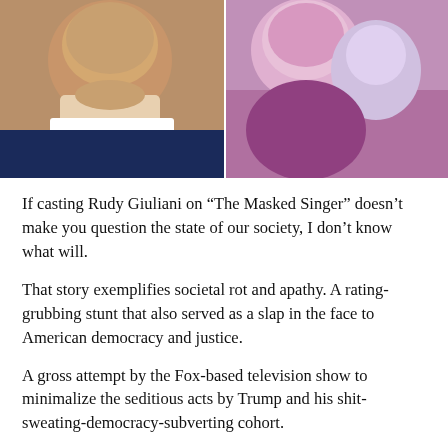[Figure (photo): Two side-by-side photos: left shows Rudy Giuliani speaking, right shows a costumed masked singer performer]
If casting Rudy Giuliani on “The Masked Singer” doesn’t make you question the state of our society, I don’t know what will.
That story exemplifies societal rot and apathy. A rating-grubbing stunt that also served as a slap in the face to American democracy and justice.
A gross attempt by the Fox-based television show to minimalize the seditious acts by Trump and his shit-sweating-democracy-subverting cohort.
Kudos to the judges who walked off in protest.